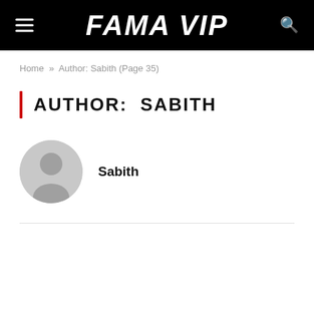FAMA VIP
Home » Author: Sabith (Page 35)
AUTHOR: SABITH
[Figure (illustration): Default grey avatar icon showing a silhouette of a person]
Sabith